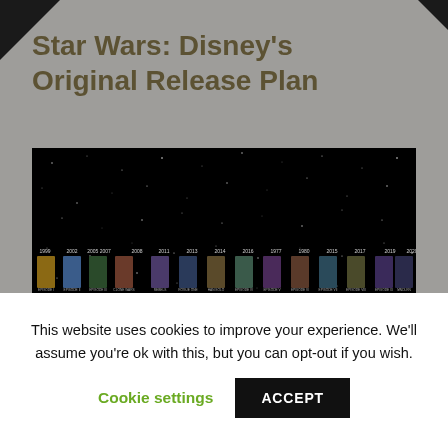Star Wars: Disney's Original Release Plan
[Figure (infographic): Star Wars movie timeline infographic showing movie posters arranged chronologically on a starfield background, with labels for The Prequel Trilogy, The Original Trilogy, and The Sequel Trilogy.]
This website uses cookies to improve your experience. We'll assume you're ok with this, but you can opt-out if you wish.
Cookie settings    ACCEPT